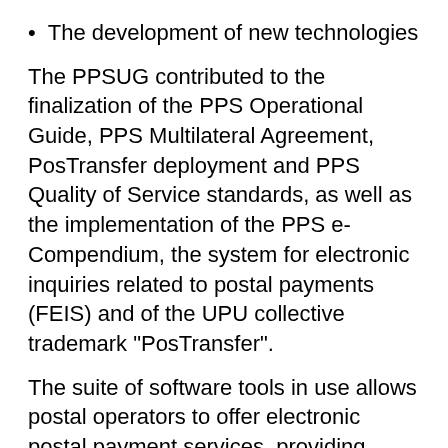The development of new technologies
The PPSUG contributed to the finalization of the PPS Operational Guide, PPS Multilateral Agreement, PosTransfer deployment and PPS Quality of Service standards, as well as the implementation of the PPS e-Compendium, the system for electronic inquiries related to postal payments (FEIS) and of the UPU collective trademark "PosTransfer".
The suite of software tools in use allows postal operators to offer electronic postal payment services, providing state-of-the-art guarantees to secure payments between operators and protecting the interests of consumers, senders and beneficiaries alike.
These are complemented with the UPU trademark “PosTransfer”, and a set of